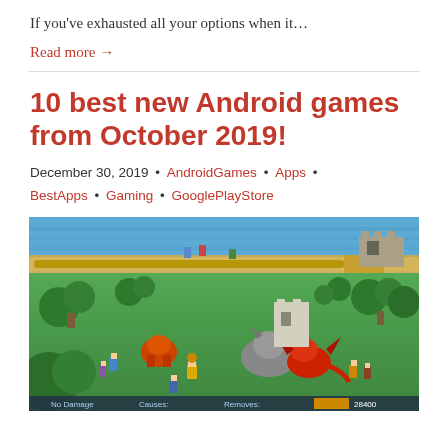If you've exhausted all your options when it…
Read more →
10 best new Android games from October 2019!
December 30, 2019 • AndroidGames • Apps • BestApps • Gaming • GooglePlayStore
[Figure (screenshot): Screenshot of a mobile Android game showing a fantasy/RPG game scene with characters, monsters (including a red dragon and a wolf), trees, a castle path, and a bottom HUD bar showing 'No Damage', 'Causes:', 'Removes:', and '28400'.]